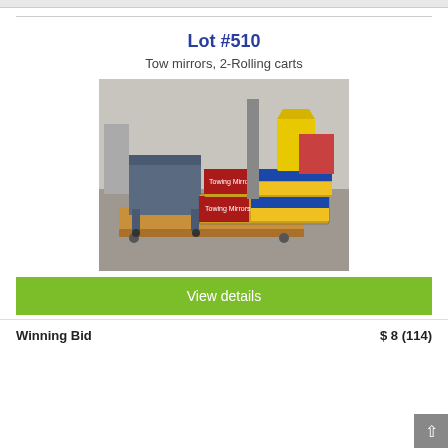Lot #510
Tow mirrors, 2-Rolling carts
[Figure (photo): Photo of tow mirrors in boxes and 2 rolling carts (a metal rolling cart with flat platform and a wooden flat dolly) in an industrial or workshop setting.]
View details
Winning Bid    $ 8 (114)